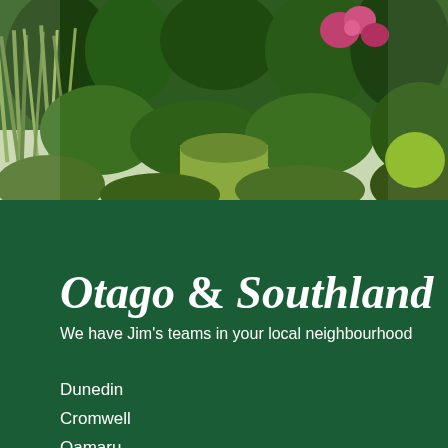[Figure (photo): Garden photograph showing lush green foliage with grasses, shrubs, and pink/red flowering plants along a garden path]
Otago & Southland
We have Jim's teams in your local neighbourhood
Dunedin
Cromwell
Oamaru